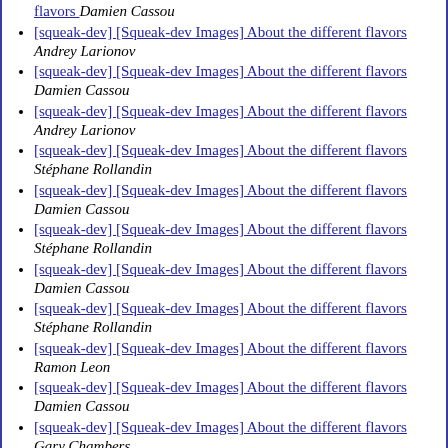[squeak-dev] [Squeak-dev Images] About the different flavors  Damien Cassou
[squeak-dev] [Squeak-dev Images] About the different flavors  Andrey Larionov
[squeak-dev] [Squeak-dev Images] About the different flavors  Damien Cassou
[squeak-dev] [Squeak-dev Images] About the different flavors  Andrey Larionov
[squeak-dev] [Squeak-dev Images] About the different flavors  Stéphane Rollandin
[squeak-dev] [Squeak-dev Images] About the different flavors  Damien Cassou
[squeak-dev] [Squeak-dev Images] About the different flavors  Stéphane Rollandin
[squeak-dev] [Squeak-dev Images] About the different flavors  Damien Cassou
[squeak-dev] [Squeak-dev Images] About the different flavors  Stéphane Rollandin
[squeak-dev] [Squeak-dev Images] About the different flavors  Ramon Leon
[squeak-dev] [Squeak-dev Images] About the different flavors  Damien Cassou
[squeak-dev] [Squeak-dev Images] About the different flavors  Gary Chambers
[squeak-dev] [Squeak-dev Images] About the different flavors  Mariano Martinez Peck